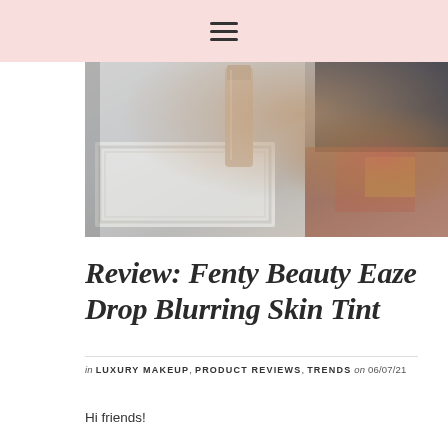≡ (hamburger menu icon)
[Figure (photo): Close-up photo of a Fenty Beauty product bottle (nude/beige shade) resting on a white decorative surface with Greek key pattern border, blurred colorful background on the right side]
Review: Fenty Beauty Eaze Drop Blurring Skin Tint
in LUXURY MAKEUP, PRODUCT REVIEWS, TRENDS on 06/07/21
Hi friends!